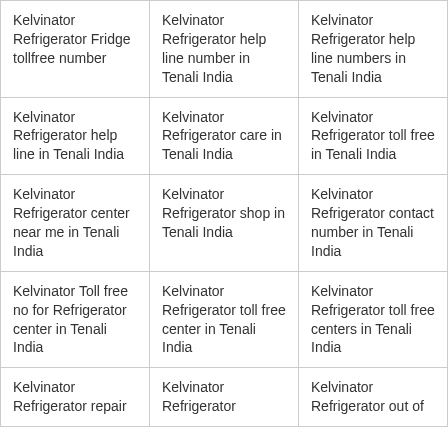| Kelvinator Refrigerator Fridge tollfree number | Kelvinator Refrigerator help line number in Tenali India | Kelvinator Refrigerator help line numbers in Tenali India |
| Kelvinator Refrigerator help line in Tenali India | Kelvinator Refrigerator care in Tenali India | Kelvinator Refrigerator toll free in Tenali India |
| Kelvinator Refrigerator center near me in Tenali India | Kelvinator Refrigerator shop in Tenali India | Kelvinator Refrigerator contact number in Tenali India |
| Kelvinator Toll free no for Refrigerator center in Tenali India | Kelvinator Refrigerator toll free center in Tenali India | Kelvinator Refrigerator toll free centers in Tenali India |
| Kelvinator Refrigerator repair | Kelvinator Refrigerator | Kelvinator Refrigerator out of |